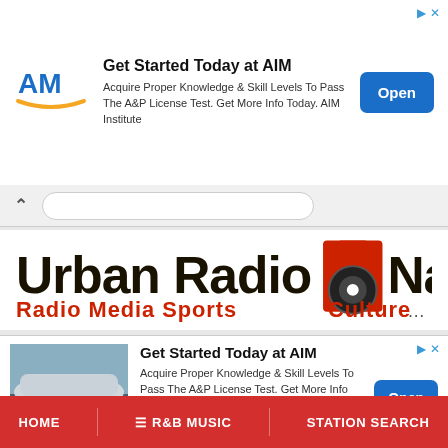[Figure (infographic): Top advertisement banner for AIM Institute with logo, text, and Open button]
[Figure (screenshot): Accordion/search navigation bar with up caret and rounded input field]
[Figure (logo): Urban Radio Nation logo with red headphone icon and Radio Media Sports Culture tagline]
[Figure (infographic): Bottom advertisement banner for AIM Institute with aircraft photo, text and Open button]
HOME  ☰ R&B MUSIC  STATION SEARCH